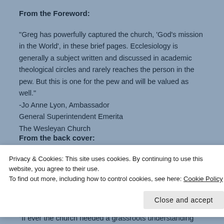From the Foreword:
"Greg has powerfully captured the church, 'God's mission in the World', in these brief pages. Ecclesiology is generally a subject written and discussed in academic theological circles and rarely reaches the person in the pew. But this is one for the pew and will be valued as well."
-Jo Anne Lyon, Ambassador
General Superintendent Emerita
The Wesleyan Church
From the back cover:
Privacy & Cookies: This site uses cookies. By continuing to use this website, you agree to their use.
To find out more, including how to control cookies, see here: Cookie Policy
"If ever the church needed a grassroots understanding